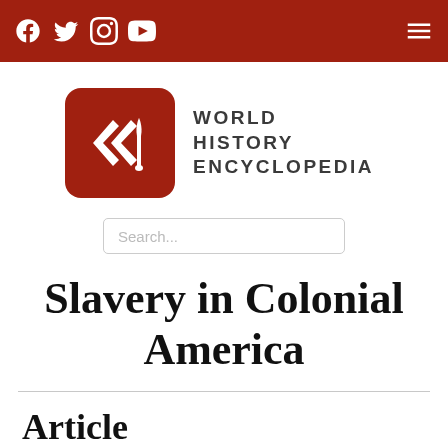[Social media icons: Facebook, Twitter, Instagram, YouTube] [Hamburger menu]
[Figure (logo): World History Encyclopedia logo: red rounded square with white double-arrow and figure symbol, next to bold uppercase text 'WORLD HISTORY ENCYCLOPEDIA']
Search...
Slavery in Colonial America
Article